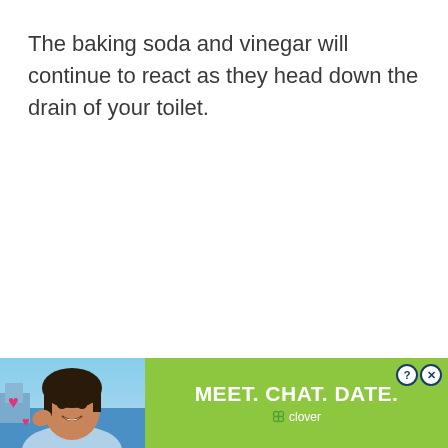The baking soda and vinegar will continue to react as they head down the drain of your toilet.
[Figure (infographic): Advertisement banner at page bottom. Green background with 'MEET. CHAT. DATE.' text in white bold font, Clover dating app logo, and an image of a smiling woman with pink hearts. Question mark and X close buttons in top right.]